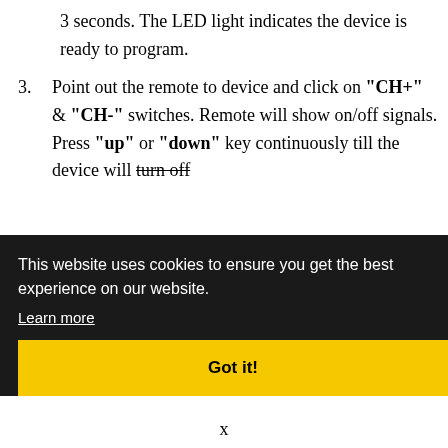3 seconds. The LED light indicates the device is ready to program.
3. Point out the remote to device and click on "CH+" & "CH-" switches. Remote will show on/off signals. Press "up" or "down" key continuously till the device will turn off.
This website uses cookies to ensure you get the best experience on our website. Learn more
Got it!
x